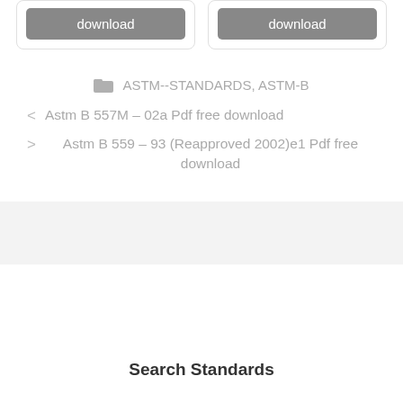[Figure (screenshot): Two grey download buttons side by side inside card outlines at the top of the page]
ASTM--STANDARDS, ASTM-B
Astm B 557M – 02a Pdf free download
Astm B 559 – 93 (Reapproved 2002)e1 Pdf free download
Search Standards